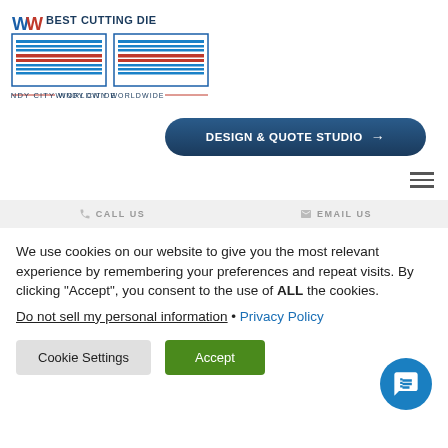[Figure (logo): Best Cutting Die - Windy City Worldwide logo with BCD letters and horizontal colored stripes]
[Figure (other): Design & Quote Studio button with dark blue rounded rectangle and right arrow]
[Figure (other): Hamburger menu icon (three horizontal lines)]
CALL US   EMAIL US
We use cookies on our website to give you the most relevant experience by remembering your preferences and repeat visits. By clicking “Accept”, you consent to the use of ALL the cookies.
Do not sell my personal information • Privacy Policy
Cookie Settings   Accept